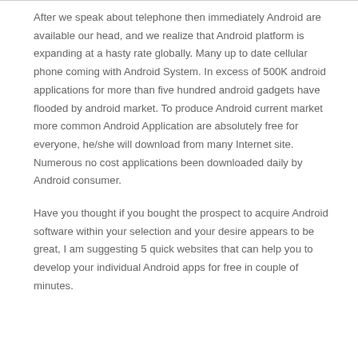After we speak about telephone then immediately Android are available our head, and we realize that Android platform is expanding at a hasty rate globally. Many up to date cellular phone coming with Android System. In excess of 500K android applications for more than five hundred android gadgets have flooded by android market. To produce Android current market more common Android Application are absolutely free for everyone, he/she will download from many Internet site. Numerous no cost applications been downloaded daily by Android consumer.
Have you thought if you bought the prospect to acquire Android software within your selection and your desire appears to be great, I am suggesting 5 quick websites that can help you to develop your individual Android apps for free in couple of minutes.